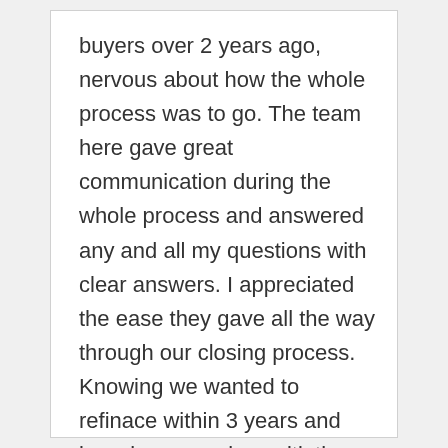buyers over 2 years ago, nervous about how the whole process was to go. The team here gave great communication during the whole process and answered any and all my questions with clear answers. I appreciated the ease they gave all the way through our closing process. Knowing we wanted to refinace within 3 years and knowing our unique sitiation, Catherine reached out with a program that would fit our "style" and called me without us having to ask. I look forward to